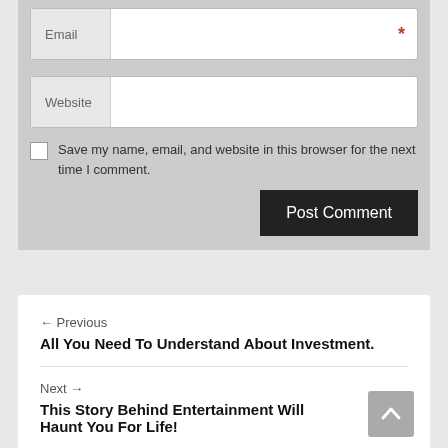[Figure (screenshot): Email form field with label 'Email' on left and red asterisk required marker on right]
[Figure (screenshot): Website form field with label 'Website' on left]
Save my name, email, and website in this browser for the next time I comment.
[Figure (screenshot): Post Comment button, dark background]
← Previous
All You Need To Understand About Investment.
Next →
This Story Behind Entertainment Will Haunt You For Life!